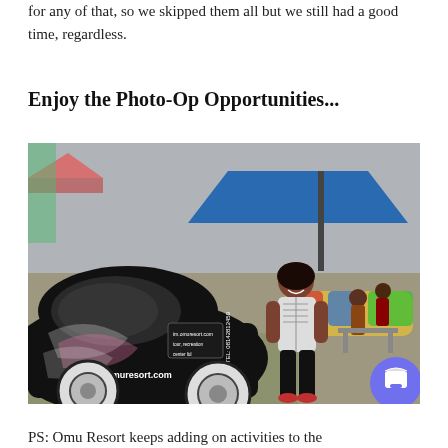for any of that, so we skipped them all but we still had a good time, regardless.
Enjoy the Photo-Op Opportunities...
[Figure (photo): A woman posing and leaning against a decorated vintage Volkswagen Beetle car at Omu Resort. The car is painted black and white with pink graphics, and bears the text 'www.omuresort.com' and a phone number. In the background there is a blue canopy/tent, colorful inflatable structures, and other visitors. The setting is an outdoor resort.]
PS: Omu Resort keeps adding on activities to the